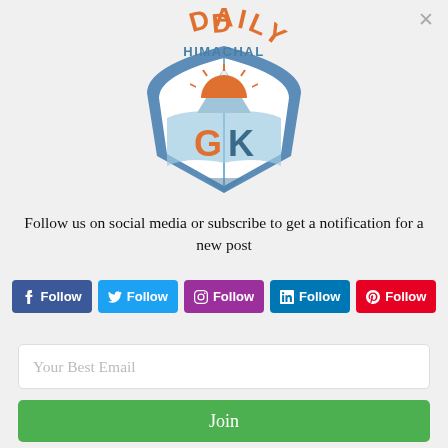[Figure (logo): Daily Himachal GK logo — a shield shape in blue/teal with an open book, mountain peaks, and a sunrise in orange. Text 'DAILY' in orange at top, 'HIMACHAL' in blue below, 'GK' in orange at bottom inside the shield.]
Follow us on social media or subscribe to get a notification for a new post
Follow (Facebook)
Follow (Twitter)
Follow (Instagram)
Follow (LinkedIn)
Follow (Pinterest)
Your Best Email
Join